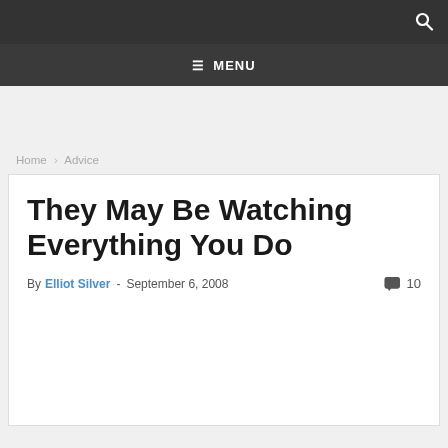MENU
Home › Advice
They May Be Watching Everything You Do
By Elliot Silver - September 6, 2008  10